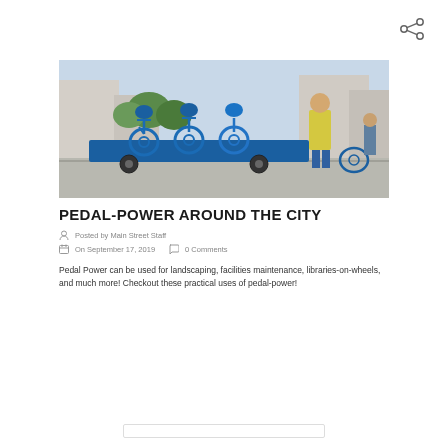[Figure (photo): Share icon with three connected circles in top right corner]
[Figure (photo): Photo of blue city bike-share bicycles on a trailer being transported, with a worker in a yellow safety vest in the background, urban setting]
PEDAL-POWER AROUND THE CITY
Posted by Main Street Staff
On September 17, 2019    0 Comments
Pedal Power can be used for landscaping, facilities maintenance, libraries-on-wheels, and much more! Checkout these practical uses of pedal-power!